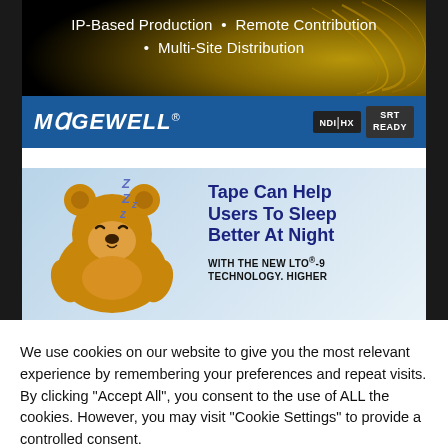[Figure (advertisement): Magewell advertisement banner with dark background and gold swirl patterns. Text reads 'IP-Based Production • Remote Contribution • Multi-Site Distribution'. Bottom bar is blue with MAGEWELL logo and NDI HX and SRT READY badges.]
[Figure (advertisement): LTO tape advertisement with sleeping teddy bear and 'zzz' text. Headline: 'Tape Can Help Users To Sleep Better At Night'. Subtext: 'WITH THE NEW LTO®-9 TECHNOLOGY. HIGHER']
We use cookies on our website to give you the most relevant experience by remembering your preferences and repeat visits. By clicking "Accept All", you consent to the use of ALL the cookies. However, you may visit "Cookie Settings" to provide a controlled consent.
Cookie Settings
Accept All